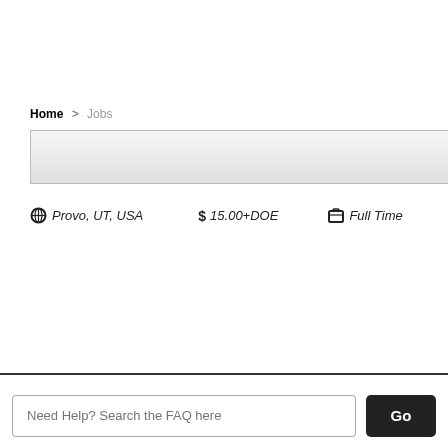Home > Jobs
[Figure (screenshot): A gray gradient search/banner bar spanning horizontally]
Provo, UT, USA   $ 15.00+DOE   Full Time
Need Help? Search the FAQ here
Go